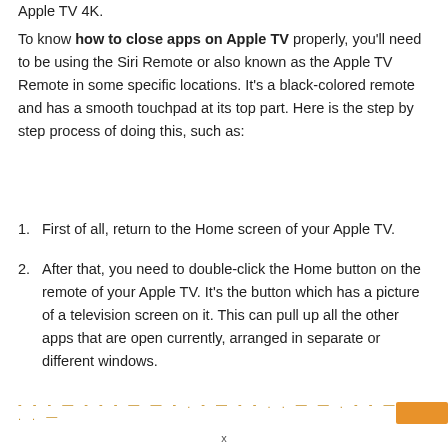Apple TV 4K.
To know how to close apps on Apple TV properly, you'll need to be using the Siri Remote or also known as the Apple TV Remote in some specific locations. It's a black-colored remote and has a smooth touchpad at its top part. Here is the step by step process of doing this, such as:
First of all, return to the Home screen of your Apple TV.
After that, you need to double-click the Home button on the remote of your Apple TV. It's the button which has a picture of a television screen on it. This can pull up all the other apps that are open currently, arranged in separate or different windows.